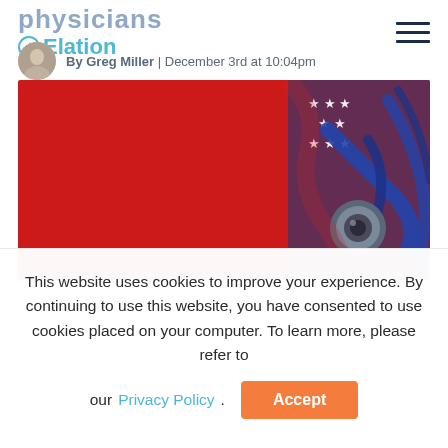physicians
[Figure (logo): Elation Health logo with teal star and teal text reading 'Elation']
[Figure (other): Hamburger menu icon (three horizontal dark navy lines)]
By Greg Miller | December 3rd at 10:04pm
[Figure (photo): Hero image showing a stethoscope draped over an American flag on a red background]
This website uses cookies to improve your experience. By continuing to use this website, you have consented to use cookies placed on your computer. To learn more, please refer to our Privacy Policy.
Accept